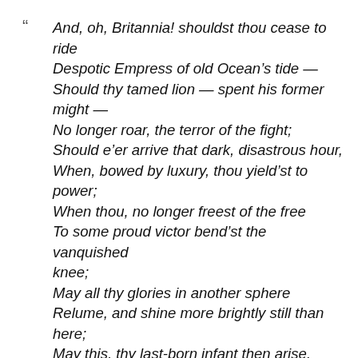“ And, oh, Britannia! shouldst thou cease to ride Despotic Empress of old Ocean’s tide — Should thy tamed lion — spent his former might — No longer roar, the terror of the fight; Should e’er arrive that dark, disastrous hour, When, bowed by luxury, thou yield’st to power; When thou, no longer freest of the free To some proud victor bend’st the vanquished knee; May all thy glories in another sphere Relume, and shine more brightly still than here; May this, thy last-born infant then arise, To glad thy heart, and greet thy parent eyes;